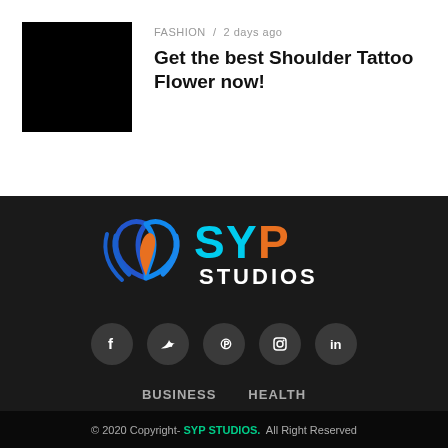[Figure (photo): Black rectangle thumbnail image placeholder]
FASHION / 2 days ago
Get the best Shoulder Tattoo Flower now!
[Figure (logo): SYP Studios logo with flame/wing icon in blue and orange gradient, SYP text in cyan and orange, STUDIOS in white]
[Figure (infographic): Social media icons row: Facebook, Twitter, Pinterest, Instagram, LinkedIn — dark grey circles with white icons]
BUSINESS  HEALTH
© 2020 Copyright- SYP STUDIOS. All Right Reserved